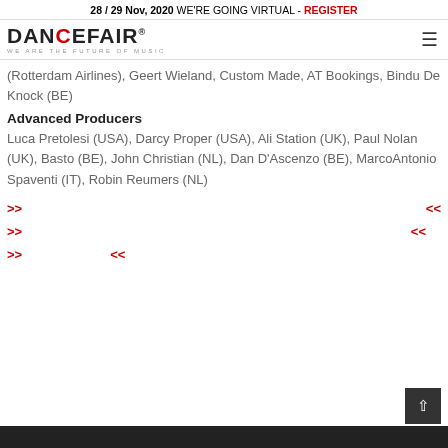28 / 29 Nov, 2020 WE'RE GOING VIRTUAL - REGISTER
[Figure (logo): Dancefair logo with tagline WE ARE THE FUTURE OF MUSIC]
(Rotterdam Airlines), Geert Wieland, Custom Made, AT Bookings, Bindu De Knock (BE)
Advanced Producers
Luca Pretolesi (USA), Darcy Proper (USA), Ali Station (UK), Paul Nolan (UK), Basto (BE), John Christian (NL), Dan D'Ascenzo (BE), MarcoAntonio Spaventi (IT), Robin Reumers (NL)
>> <<
>> <<
>> <<